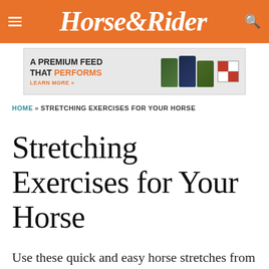Horse&Rider
[Figure (infographic): Advertisement banner: 'A PREMIUM FEED THAT PERFORMS - LEARN MORE' with Purina product bags and checkerboard logo]
HOME » STRETCHING EXERCISES FOR YOUR HORSE
Stretching Exercises for Your Horse
Use these quick and easy horse stretches from massage therapist Peter Atkins to increase your